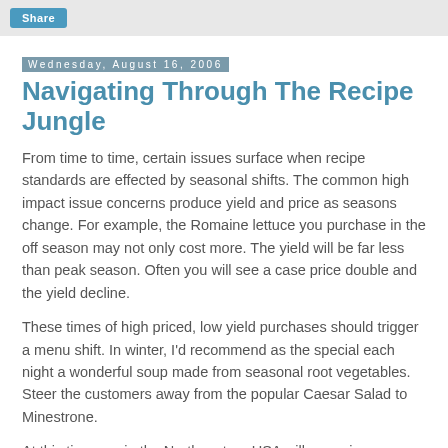Share
Wednesday, August 16, 2006
Navigating Through The Recipe Jungle
From time to time, certain issues surface when recipe standards are effected by seasonal shifts. The common high impact issue concerns produce yield and price as seasons change. For example, the Romaine lettuce you purchase in the off season may not only cost more. The yield will be far less than peak season. Often you will see a case price double and the yield decline.
These times of high priced, low yield purchases should trigger a menu shift. In winter, I'd recommend as the special each night a wonderful soup made from seasonal root vegetables. Steer the customers away from the popular Caesar Salad to Minestrone.
At this time, we in the Northeastern USA will see prices plummet on beautiful peppers. Menu items with roasted